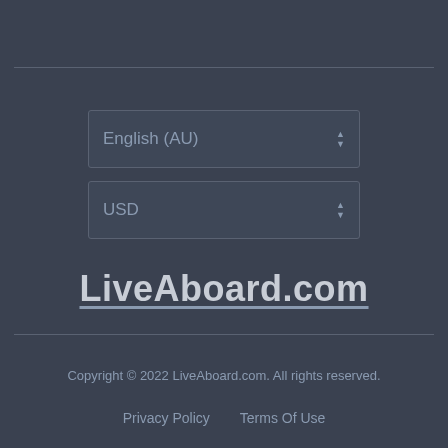[Figure (screenshot): Dropdown selector showing 'English (AU)' with up/down arrows]
[Figure (screenshot): Dropdown selector showing 'USD' with up/down arrows]
[Figure (logo): LiveAboard.com logo in bold text with underline]
Copyright © 2022 LiveAboard.com. All rights reserved.
Privacy Policy   Terms Of Use